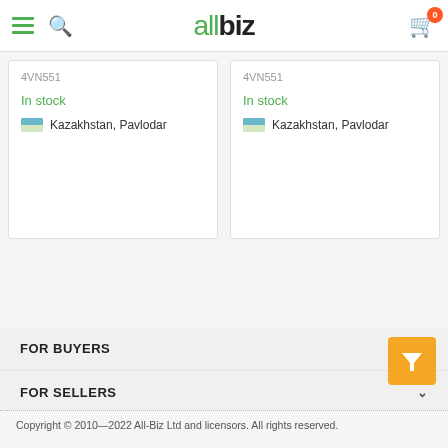allbiz
In stock
Kazakhstan, Pavlodar
In stock
Kazakhstan, Pavlodar
FOR BUYERS
FOR SELLERS
USEFUL INFORMATION
ABOUT ENTERPRISE
Copyright © 2010—2022 All-Biz Ltd and licensors. All rights reserved.